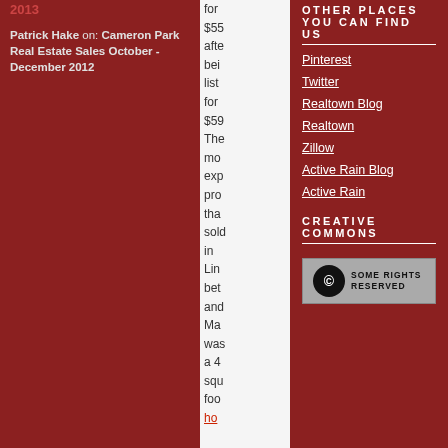2013
Patrick Hake on: Cameron Park Real Estate Sales October - December 2012
for $55 after bei listed for $59 The mo exp pro tha sold in Lin bet and Ma was a 4 squ foo ho
OTHER PLACES YOU CAN FIND US
Pinterest
Twitter
Realtown Blog
Realtown
Zillow
Active Rain Blog
Active Rain
CREATIVE COMMONS
[Figure (logo): Creative Commons Some Rights Reserved badge with CC circle logo]